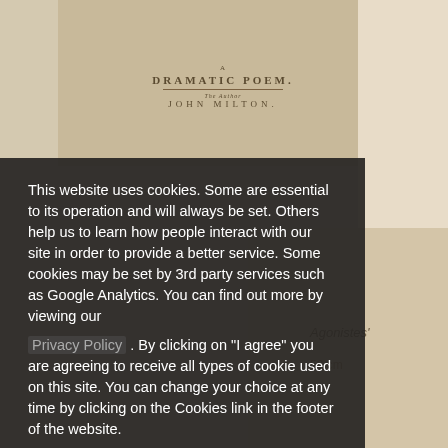[Figure (photo): Background image of an old book cover titled 'A Dramatic Poem' by John Milton (partially visible), with beige/tan tones. The image is partially obscured by a dark cookie consent overlay.]
This website uses cookies. Some are essential to its operation and will always be set. Others help us to learn how people interact with our site in order to provide a better service. Some cookies may be set by 3rd party services such as Google Analytics. You can find out more by viewing our Privacy Policy . By clicking on "I agree" you are agreeing to receive all types of cookie used on this site. You can change your choice at any time by clicking on the Cookies link in the footer of the website.
Change settings
I agree